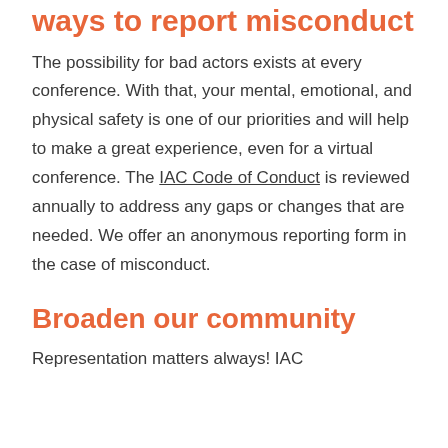ways to report misconduct
The possibility for bad actors exists at every conference. With that, your mental, emotional, and physical safety is one of our priorities and will help to make a great experience, even for a virtual conference. The IAC Code of Conduct is reviewed annually to address any gaps or changes that are needed. We offer an anonymous reporting form in the case of misconduct.
Broaden our community
Representation matters always! IAC